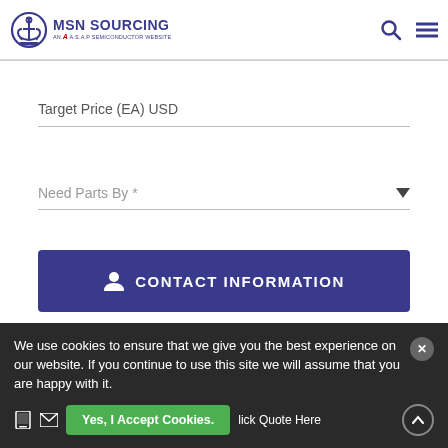[Figure (logo): MSN Sourcing logo - An A.S.A.P Semiconductor Website, with anchor icon in circle]
Target Price (EA) USD
Need Parts By *
CONTACT INFORMATION
Contact Name*
We use cookies to ensure that we give you the best experience on our website. If you continue to use this site we will assume that you are happy with it.
Yes, I Accept Cookies.
lick Quote Here